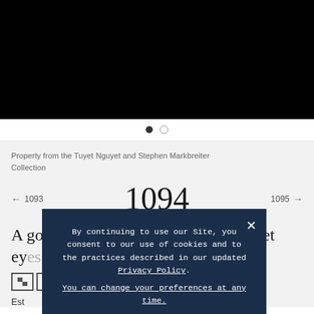[Figure (photo): Black image area (product photo placeholder)]
Property from the Tuyet Nguyet and Stephen Markbreiter Collection
← 1093   1094   1095 →
A gold 'Makara' necklace with ruby-set eyes | [image] [image]
Est HKD
By continuing to use our Site, you consent to our use of cookies and to the practices described in our updated Privacy Policy. You can change your preferences at any time.